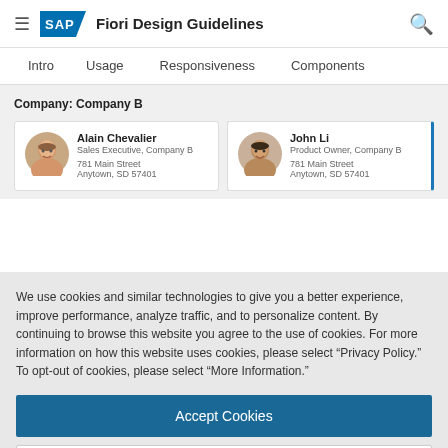SAP Fiori Design Guidelines
Intro   Usage   Responsiveness   Components
Company: Company B
Alain Chevalier
Sales Executive, Company B
781 Main Street
Anytown, SD 57401
John Li
Product Owner, Company B
781 Main Street
Anytown, SD 57401
We use cookies and similar technologies to give you a better experience, improve performance, analyze traffic, and to personalize content. By continuing to browse this website you agree to the use of cookies. For more information on how this website uses cookies, please select “Privacy Policy.” To opt-out of cookies, please select “More Information.”
Accept Cookies
More Information
Privacy Policy | Powered by: TrustArc